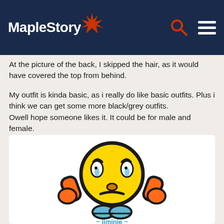MapleStory
At the picture of the back, I skipped the hair, as it would have covered the top from behind.
My outfit is kinda basic, as i really do like basic outfits. Plus i think we can get some more black/grey outfits.
Owell hope someone likes it. It could be for male and female.
(although the hat might be more for females 😆)
[Figure (illustration): A sad/worried emoji character with round yellow head, orange arms raised to the sides of its face, blue feet/shoes, appearing to be a MapleStory mascot or sticker. Below it appears stylized text.]